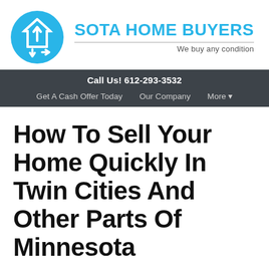[Figure (logo): Sota Home Buyers logo: a teal/cyan circle with a house and arrows icon, company name in cyan, tagline 'We buy any condition']
Call Us! 612-293-3532
Get A Cash Offer Today   Our Company   More ▾
How To Sell Your Home Quickly In Twin Cities And Other Parts Of Minnesota
June 27, 2019